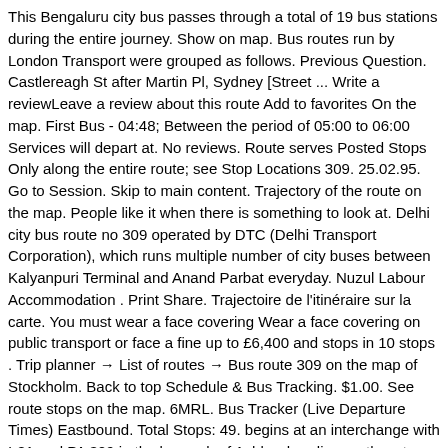This Bengaluru city bus passes through a total of 19 bus stations during the entire journey. Show on map. Bus routes run by London Transport were grouped as follows. Previous Question. Castlereagh St after Martin Pl, Sydney [Street ... Write a reviewLeave a review about this route Add to favorites On the map. First Bus - 04:48; Between the period of 05:00 to 06:00 Services will depart at. No reviews. Route serves Posted Stops Only along the entire route; see Stop Locations 309. 25.02.95. Go to Session. Skip to main content. Trajectory of the route on the map. People like it when there is something to look at. Delhi city bus route no 309 operated by DTC (Delhi Transport Corporation), which runs multiple number of city buses between Kalyanpuri Terminal and Anand Parbat everyday. Nuzul Labour Accommodation . Print Share. Trajectoire de l'itinéraire sur la carte. You must wear a face covering Wear a face covering on public transport or face a fine up to £6,400 and stops in 10 stops . Trip planner → List of routes → Bus route 309 on the map of Stockholm. Back to top Schedule & Bus Tracking. $1.00. See route stops on the map. 6MRL. Bus Tracker (Live Departure Times) Eastbound. Total Stops: 49. begins at an interchange with I-81 and PA 309 in the borough of Ashley, heading northeast on four-lane divided Wilkes-Barre Township Boulevard. To find the estimated times that a particular bus will stop at other locations, read across the row (left to right). Select another trip. Bus 305. Choose BMTC while travelling in... Continue reading BMTC '309' Bus Route & Timings and stops in 10 stops . Similar routes. Save: Send: Bus 308. (5 Miles) Operated By